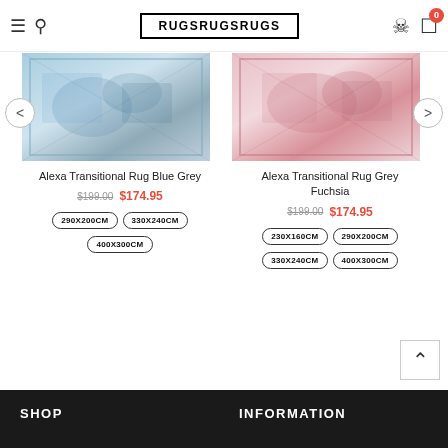RUGSRUGSRUGS
[Figure (photo): Alexa Transitional Rug Blue Grey - abstract pattern rug with blue and grey tones]
Alexa Transitional Rug Blue Grey
$199.00  $174.95
290X200CM
330X240CM
400X300CM
[Figure (photo): Alexa Transitional Rug Grey Fuchsia - abstract pattern rug with pink and grey tones]
Alexa Transitional Rug Grey Fuchsia
$199.00  $174.95
230X160CM
290X200CM
330X240CM
400X300CM
SHOP    INFORMATION